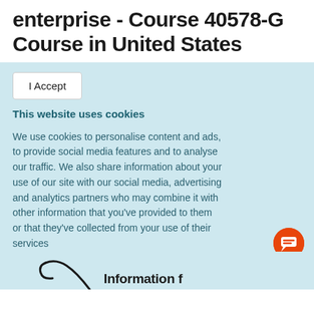enterprise - Course 40578-G Course in United States
I Accept
This website uses cookies
We use cookies to personalise content and ads, to provide social media features and to analyse our traffic. We also share information about your use of our site with our social media, advertising and analytics partners who may combine it with other information that you've provided to them or that they've collected from your use of their services
Privacy policy
[Figure (other): Partial phone/contact icon visible at bottom of page with partial text below]